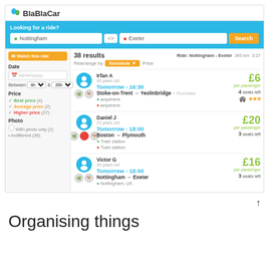[Figure (screenshot): BlaBlaCar ride-sharing website screenshot showing search for Nottingham to Exeter with 38 results, filter sidebar, and three ride listings: Irfan A (Tomorrow 16:30, £6), Daniel J (Tomorrow 18:00, £20), Victor G (Tomorrow 18:00, £16).]
Organising things